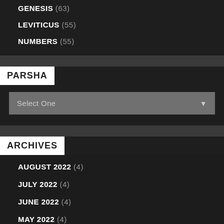GENESIS (63)
LEVITICUS (55)
NUMBERS (55)
PARSHA
Select One
ARCHIVES
AUGUST 2022 (4)
JULY 2022 (4)
JUNE 2022 (4)
MAY 2022 (4)
APRIL 2022 (5)